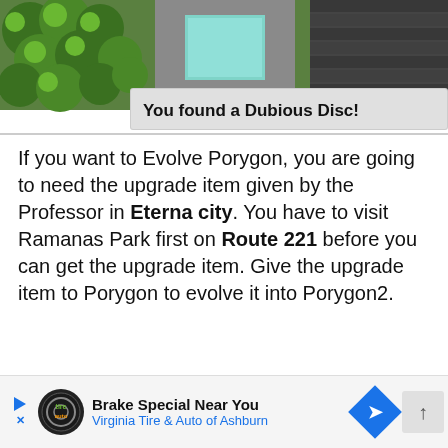[Figure (screenshot): Game screenshot showing a top-down RPG view with green trees on the left, a gray path with a teal pool in the center, and a dark roof structure on the right. A dialogue box at the bottom reads 'You found a Dubious Disc!']
If you want to Evolve Porygon, you are going to need the upgrade item given by the Professor in Eterna city. You have to visit Ramanas Park first on Route 221 before you can get the upgrade item. Give the upgrade item to Porygon to evolve it into Porygon2.
[Figure (screenshot): Advertisement bar: 'Brake Special Near You — Virginia Tire & Auto of Ashburn' with a blue navigation arrow icon and the Firestone/tire auto logo]